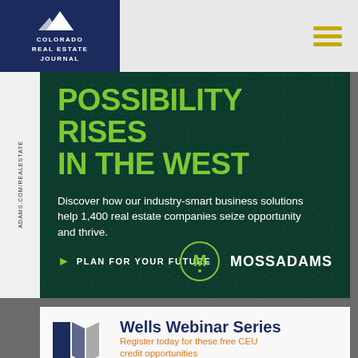[Figure (logo): Colorado Real Estate Journal logo on dark navy background with mountain icon]
[Figure (logo): Hamburger menu icon with three gold/yellow horizontal bars]
[Figure (infographic): Moss Adams dark green advertisement banner. Headline: POSSIBILITY RISES IN THE WEST. Body text: Discover how our industry-smart business solutions help 1,400 real estate companies seize opportunity and thrive. CTA: PLAN FOR YOUR FUTURE. Moss Adams logo bottom right.]
ADAMS.COM/REALESTATE
[Figure (infographic): Wells Webinar Series banner with blue geometric logo shapes. Title: Wells Webinar Series. Subtitle: Register today for these free CEU credit opportunities]